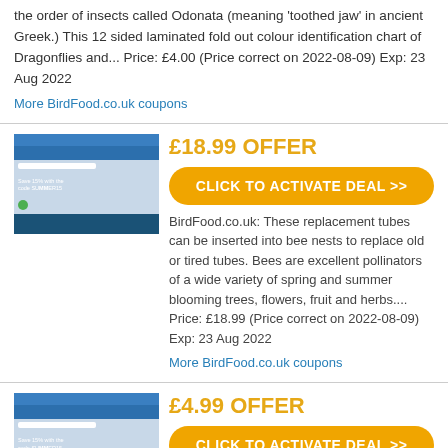the order of insects called Odonata (meaning 'toothed jaw' in ancient Greek.)  This 12 sided laminated fold out colour identification chart of Dragonflies and... Price: £4.00 (Price correct on 2022-08-09) Exp: 23 Aug 2022
More BirdFood.co.uk coupons
£18.99 OFFER
CLICK TO ACTIVATE DEAL >>
[Figure (screenshot): Thumbnail screenshot of BirdFood.co.uk website showing 'Save 15% with the code SUMMER15']
BirdFood.co.uk: These replacement tubes can be inserted into bee nests to replace old or tired tubes. Bees are excellent pollinators of a wide variety of spring and summer blooming trees, flowers, fruit and herbs.... Price: £18.99 (Price correct on 2022-08-09) Exp: 23 Aug 2022
More BirdFood.co.uk coupons
£4.99 OFFER
CLICK TO ACTIVATE DEAL >>
[Figure (screenshot): Thumbnail screenshot of BirdFood.co.uk website showing 'Save 15% with the code SUMMER15']
BirdFood.co.uk: This beautiful mug features beautiful drawings of Elwin van den Kolk and will be treasured...